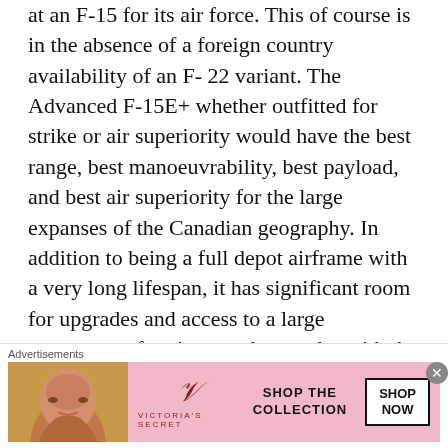at an F-15 for its air force. This of course is in the absence of a foreign country availability of an F-22 variant. The Advanced F-15E+ whether outfitted for strike or air superiority would have the best range, best manoeuvrability, best payload, and best air superiority for the large expanses of the Canadian geography. In addition to being a full depot airframe with a very long lifespan, it has significant room for upgrades and access to a large ecosystem of variants and upgrades with the other countries flying the plane. The Israeli's have also shown that defensive jamming suites can be added to the F-15. In addition, Northrop Grumman now offers the Eagle Passive/Active Warning Survivability System (EPAWSS). The Saudi Arabia's new F-15SA
[Figure (screenshot): Victoria's Secret advertisement banner with pink background, model photo on left, VS logo in center, 'SHOP THE COLLECTION' text and 'SHOP NOW' button on right]